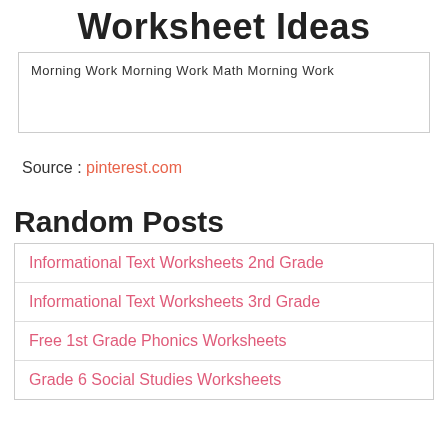Worksheet Ideas
Morning Work Morning Work Math Morning Work
Source : pinterest.com
Random Posts
Informational Text Worksheets 2nd Grade
Informational Text Worksheets 3rd Grade
Free 1st Grade Phonics Worksheets
Grade 6 Social Studies Worksheets